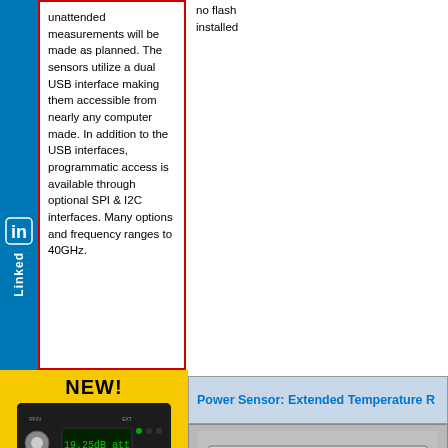unattended measurements will be made as planned. The sensors utilize a dual USB interface making them accessible from nearly any computer made. In addition to the USB interfaces, programmatic access is available through optional SPI & I2C interfaces. Many options and frequency ranges to 40GHz.
no flash installed
[Figure (photo): LinkedIn logo/badge on the left side]
NEW!
[Figure (photo): DAT64F 6 GHz Attenuator device photo showing RF input connector and display reading 19.25dB att]
6 GHz Attenuator
CLICK HERE!
When and Why a MId-Lifecycle Component Change Makes Sense.
Application Note: Basic RF Amplifier Measurements
Power Sensor: Extended Temperature R
[Figure (photo): Power sensor device photo showing front panel with display and connectors]